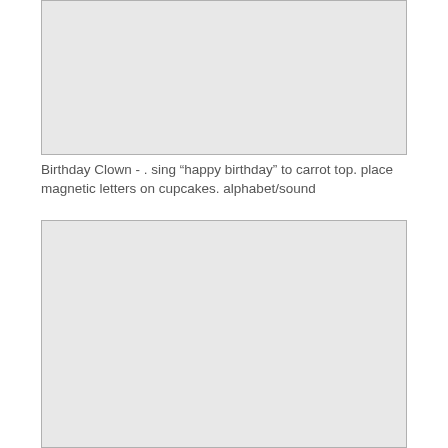[Figure (photo): Empty placeholder image box at the top of the page]
Birthday Clown - . sing “happy birthday” to carrot top. place magnetic letters on cupcakes. alphabet/sound
[Figure (photo): Empty placeholder image box at the bottom of the page]